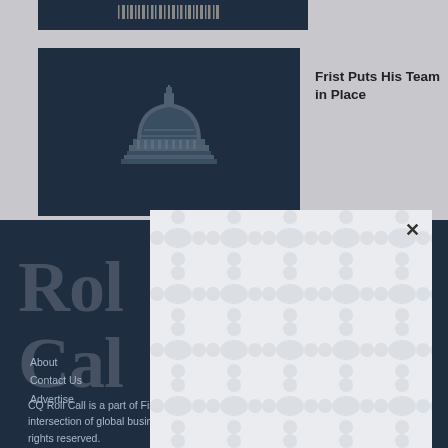[Figure (screenshot): Top dark thumbnail with barcode/header bar]
[Figure (illustration): Dark navy card with U.S. Capitol dome illustration in white]
Frist Puts His Team in Place
[Figure (screenshot): Modal dialog with repeating blob/peanut pattern overlay on page content, with X close button]
About
Contact Us
Advertise
CQ Jobs
Subscriptions
CQ Roll Call is a part of FiscalNote, the leading technology innovator at the intersection of global business and government. Copyright 2022 CQ Roll Call. All rights reserved.